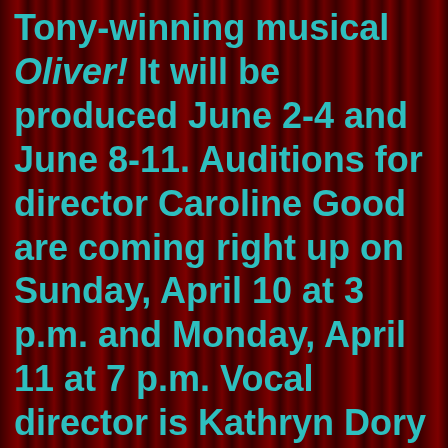Tony-winning musical Oliver! It will be produced June 2-4 and June 8-11. Auditions for director Caroline Good are coming right up on Sunday, April 10 at 3 p.m. and Monday, April 11 at 7 p.m. Vocal director is Kathryn Dory and musical director is